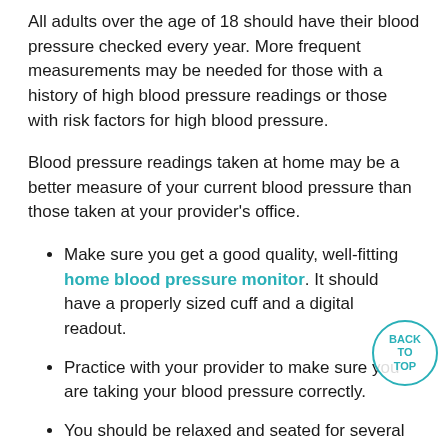All adults over the age of 18 should have their blood pressure checked every year. More frequent measurements may be needed for those with a history of high blood pressure readings or those with risk factors for high blood pressure.
Blood pressure readings taken at home may be a better measure of your current blood pressure than those taken at your provider's office.
Make sure you get a good quality, well-fitting home blood pressure monitor. It should have a properly sized cuff and a digital readout.
Practice with your provider to make sure you are taking your blood pressure correctly.
You should be relaxed and seated for several minutes prior to taking a reading.
Bring your home monitor to your appointments